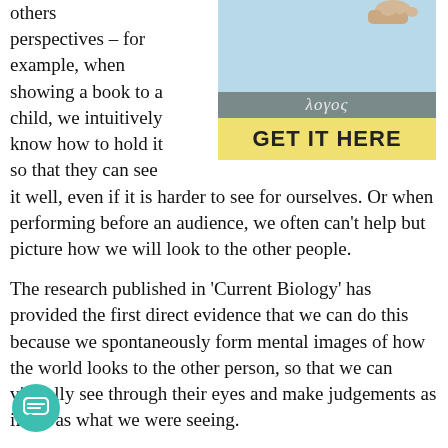others perspectives – for example, when showing a book to a child, we intuitively know how to hold it so that they can see it well, even if it is harder to see for ourselves. Or when performing before an audience, we often can't help but picture how we will look to the other people.
[Figure (illustration): Book cover advertisement: light blue background with a hand holding something at top right, a grey bar with Greek text 'λογος' in the middle, and a yellow bar at bottom with bold text 'GET IT HERE']
The research published in 'Current Biology' has provided the first direct evidence that we can do this because we spontaneously form mental images of how the world looks to the other person, so that we can virtually see through their eyes and make judgements as if it was what we were seeing.
The study, led by Eleanor Ward, Dr Giorgio Ganis and Dr Patric Bach at the University of